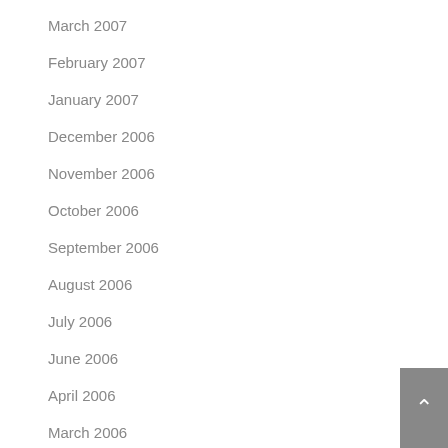March 2007
February 2007
January 2007
December 2006
November 2006
October 2006
September 2006
August 2006
July 2006
June 2006
April 2006
March 2006
February 2006
September 2005